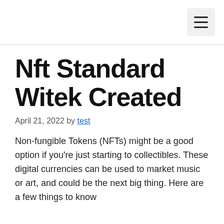≡
Nft Standard Witek Created
April 21, 2022 by test
Non-fungible Tokens (NFTs) might be a good option if you're just starting to collectibles. These digital currencies can be used to market music or art, and could be the next big thing. Here are a few things to know